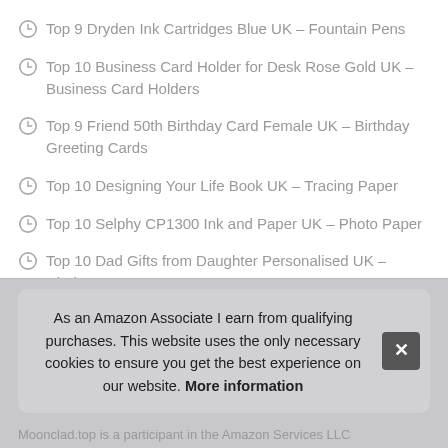Top 9 Dryden Ink Cartridges Blue UK – Fountain Pens
Top 10 Business Card Holder for Desk Rose Gold UK – Business Card Holders
Top 9 Friend 50th Birthday Card Female UK – Birthday Greeting Cards
Top 10 Designing Your Life Book UK – Tracing Paper
Top 10 Selphy CP1300 Ink and Paper UK – Photo Paper
Top 10 Dad Gifts from Daughter Personalised UK – Diaries
As an Amazon Associate I earn from qualifying purchases. This website uses the only necessary cookies to ensure you get the best experience on our website. More information
Moonclad.top is a participant in the Amazon Services LLC